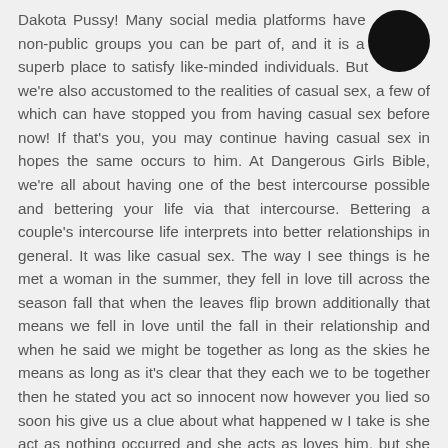Dakota Pussy! Many social media platforms have non-public groups you can be part of, and it is a superb place to satisfy like-minded individuals. But we're also accustomed to the realities of casual sex, a few of which can have stopped you from having casual sex before now! If that's you, you may continue having casual sex in hopes the same occurs to him. At Dangerous Girls Bible, we're all about having one of the best intercourse possible and bettering your life via that intercourse. Bettering a couple's intercourse life interprets into better relationships in general. It was like casual sex. The way I see things is he met a woman in the summer, they fell in love till across the season fall that when the leaves flip brown additionally that means we fell in love until the fall in their relationship and when he said we might be together as long as the skies he means as long as it's clear that they each we to be together then he stated you act so innocent now however you lied so soon his give us a clue about what happened w I take is she act as nothing occurred and she acts as loves him, but she lied about her feeling, and i also think he means she lied with another guy at the beginning of there